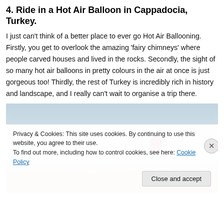4. Ride in a Hot Air Balloon in Cappadocia, Turkey.
I just can't think of a better place to ever go Hot Air Ballooning. Firstly, you get to overlook the amazing 'fairy chimneys' where people carved houses and lived in the rocks. Secondly, the sight of so many hot air balloons in pretty colours in the air at once is just gorgeous too! Thirdly, the rest of Turkey is incredibly rich in history and landscape, and I really can't wait to organise a trip there.
[Figure (photo): Photo of a hot air balloon in a pale sky over a landscape, partially obscured by a cookie consent banner.]
Privacy & Cookies: This site uses cookies. By continuing to use this website, you agree to their use.
To find out more, including how to control cookies, see here: Cookie Policy
Close and accept